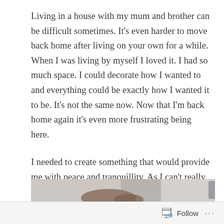Living in a house with my mum and brother can be difficult sometimes. It's even harder to move back home after living on your own for a while. When I was living by myself I loved it. I had so much space. I could decorate how I wanted to and everything could be exactly how I wanted it to be. It's not the same now. Now that I'm back home again it's even more frustrating being here.
I needed to create something that would provide me with peace and tranquillity. As I can't really change the bathroom, kitchen or any other room in the house I decided to focus on my bedroom, my bedside table to be exact. For my own peace of mind I needed something I could look at and it would instantly calm my soul.
[Figure (photo): Partial photograph visible at the bottom of the page, showing what appears to be a hand or object on a light background, cropped]
Follow ···